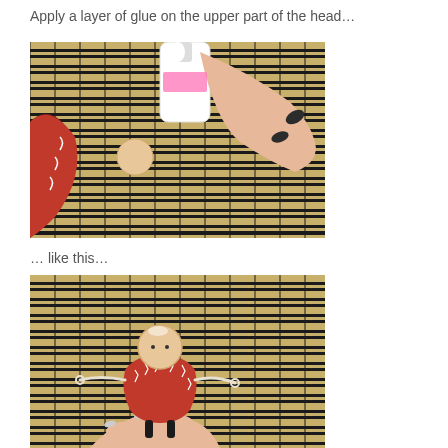Apply a layer of glue on the upper part of the head…
[Figure (photo): Close-up photo of a hand applying white glue from a bottle onto a small bead (doll head) sitting on a red leather craft piece, on a bamboo mat background]
… like this…
[Figure (photo): Photo of a hand holding a small handmade doll with a round bead head, red leather body with decorative stitching, and string arms/legs, on a bamboo mat background]